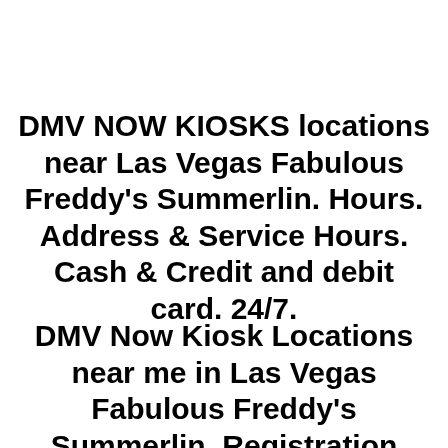DMV NOW KIOSKS locations near Las Vegas Fabulous Freddy's Summerlin. Hours. Address & Service Hours. Cash & Credit and debit card. 24/7.
DMV Now Kiosk Locations near me in Las Vegas Fabulous Freddy's Summerlin. Registration